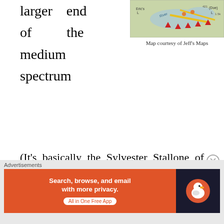larger end of the medium spectrum
[Figure (map): Topographic/canoe map showing a lake area with rivers, portages, and campsites marked with red triangles. Shows Eric's L and Doe L labels.]
Map courtesy of Jeff's Maps
(It's basically the Sylvester Stallone of lakes, if we assume that Opeongo is The Rock and Drummer is Jet Li). It's a two part lake, with a large south half and a slightly less large north half (here in the All of Algonquin universe halves can be different sizes from each other). These two parts are loosely separated by a point about 2/3 of the way up the lake. There are quite a
Advertisements
[Figure (screenshot): DuckDuckGo advertisement banner: 'Search, browse, and email with more privacy. All in One Free App' on orange background with DuckDuckGo logo on dark background.]